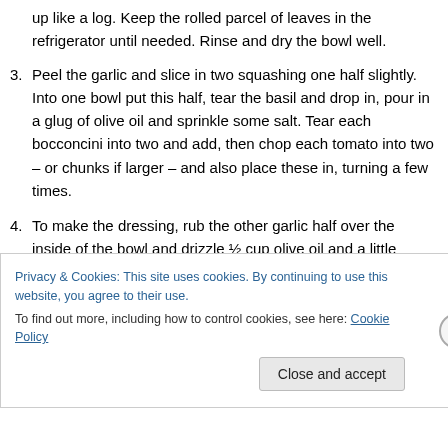up like a log. Keep the rolled parcel of leaves in the refrigerator until needed. Rinse and dry the bowl well.
3. Peel the garlic and slice in two squashing one half slightly. Into one bowl put this half, tear the basil and drop in, pour in a glug of olive oil and sprinkle some salt. Tear each bocconcini into two and add, then chop each tomato into two – or chunks if larger – and also place these in, turning a few times.
4. To make the dressing, rub the other garlic half over the inside of the bowl and drizzle ½ cup olive oil and a little stream of balsamic vinegar over. Lightly whisk
Privacy & Cookies: This site uses cookies. By continuing to use this website, you agree to their use.
To find out more, including how to control cookies, see here: Cookie Policy
Close and accept